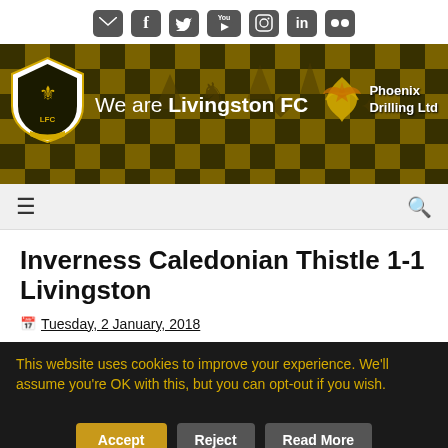Social media icons: email, Facebook, Twitter, YouTube, Instagram, LinkedIn, Flickr
[Figure (logo): Livingston FC header banner with club crest, text 'We are Livingston FC', and Phoenix Drilling Ltd sponsor logo on gold/black checkerboard background]
Navigation bar with hamburger menu and search icon
Inverness Caledonian Thistle 1-1 Livingston
Tuesday, 2 January, 2018
This website uses cookies to improve your experience. We'll assume you're OK with this, but you can opt-out if you wish.
Accept | Reject | Read More